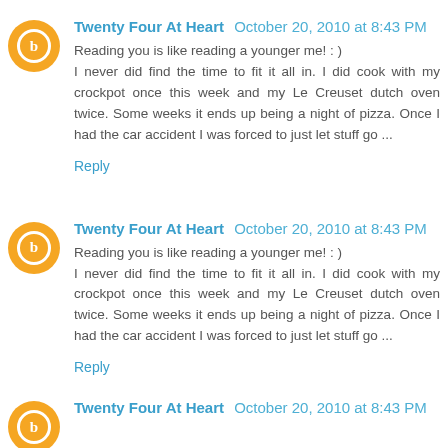Twenty Four At Heart  October 20, 2010 at 8:43 PM
Reading you is like reading a younger me! : )
I never did find the time to fit it all in. I did cook with my crockpot once this week and my Le Creuset dutch oven twice. Some weeks it ends up being a night of pizza. Once I had the car accident I was forced to just let stuff go ...
Reply
Twenty Four At Heart  October 20, 2010 at 8:43 PM
Reading you is like reading a younger me! : )
I never did find the time to fit it all in. I did cook with my crockpot once this week and my Le Creuset dutch oven twice. Some weeks it ends up being a night of pizza. Once I had the car accident I was forced to just let stuff go ...
Reply
Twenty Four At Heart  October 20, 2010 at 8:43 PM